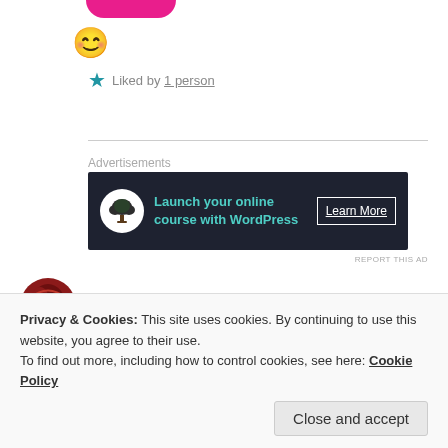[Figure (illustration): Pink rounded shape at top (partial avatar or button), followed by a smiley emoji face]
★ Liked by 1 person
[Figure (infographic): Advertisement banner: dark background with bonsai tree icon, teal text 'Launch your online course with WordPress', white 'Learn More' button]
MISCELLANYPAGES
Privacy & Cookies: This site uses cookies. By continuing to use this website, you agree to their use.
To find out more, including how to control cookies, see here: Cookie Policy
Close and accept
period of time! Congratulations on doing so well in